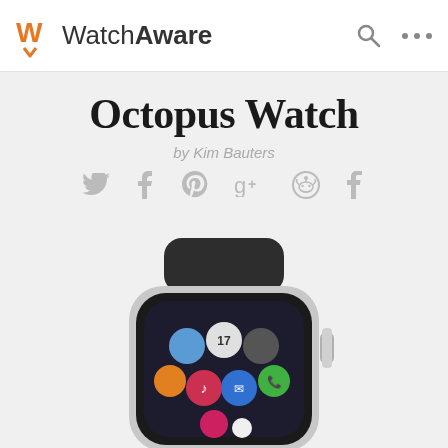WatchAware
Octopus Watch
by Kim Bauters
[Figure (screenshot): Social media share icons: Twitter, Facebook, Pinterest, Google+, Reddit, Tumblr in gray]
[Figure (photo): Apple Watch showing the Octopus Watch app on its screen with colorful app icons visible]